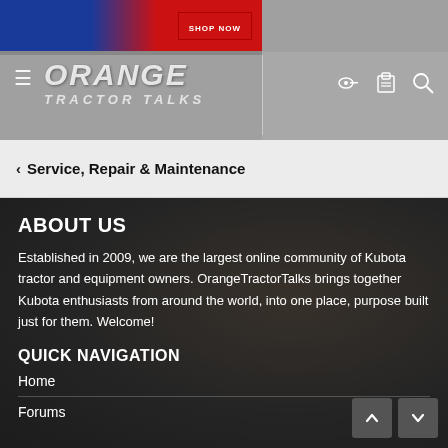[Figure (screenshot): Orange Tractor Talks website header with banner ad showing Shop Now button, hamburger menu, logo, and icons for key, clipboard, and search]
< Service, Repair & Maintenance
ABOUT US
Established in 2009, we are the largest online community of Kubota tractor and equipment owners. OrangeTractorTalks brings together Kubota enthusiasts from around the world, into one place, purpose built just for them. Welcome!
QUICK NAVIGATION
Home
Forums